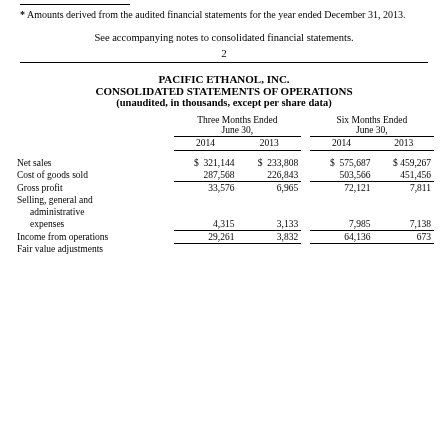* Amounts derived from the audited financial statements for the year ended December 31, 2013.
See accompanying notes to consolidated financial statements.
2
PACIFIC ETHANOL, INC.
CONSOLIDATED STATEMENTS OF OPERATIONS
(unaudited, in thousands, except per share data)
|  | Three Months Ended June 30, 2014 | Three Months Ended June 30, 2013 | Six Months Ended June 30, 2014 | Six Months Ended June 30, 2013 |
| --- | --- | --- | --- | --- |
| Net sales | $ 321,144 | $ 233,808 | $ 575,687 | $ 459,267 |
| Cost of goods sold | 287,568 | 226,843 | 503,566 | 451,456 |
| Gross profit | 33,576 | 6,965 | 72,121 | 7,811 |
| Selling, general and administrative expenses | 4,315 | 3,133 | 7,985 | 7,138 |
| Income from operations | 29,261 | 3,832 | 64,136 | 673 |
| Fair value adjustments |  |  |  |  |